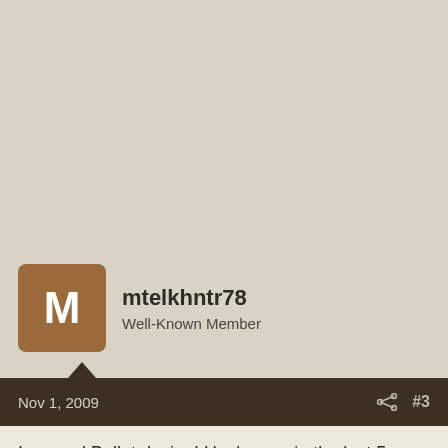[Figure (other): Large blank beige/tan background area at the top of the page, representing an advertisement or empty content area]
mtelkhntr78
Well-Known Member
Nov 1, 2009  #3
I second Bullet design! Heck even in the last 5 years bullets have come a long long ways. I think in one of the last Field and Streams I saw David Petzal had an article about the